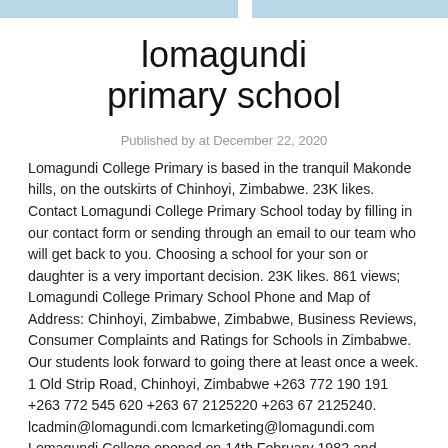lomagundi primary school
Published by at December 22, 2020
Lomagundi College Primary is based in the tranquil Makonde hills, on the outskirts of Chinhoyi, Zimbabwe. 23K likes. Contact Lomagundi College Primary School today by filling in our contact form or sending through an email to our team who will get back to you. Choosing a school for your son or daughter is a very important decision. 23K likes. 861 views; Lomagundi College Primary School Phone and Map of Address: Chinhoyi, Zimbabwe, Zimbabwe, Business Reviews, Consumer Complaints and Ratings for Schools in Zimbabwe. Our students look forward to going there at least once a week. 1 Old Strip Road, Chinhoyi, Zimbabwe +263 772 190 191 +263 772 545 620 +263 67 2125220 +263 67 2125240. lcadmin@lomagundi.com lcmarketing@lomagundi.com Lomagundi College opened on 14th February 1982 and occupies 120 ha